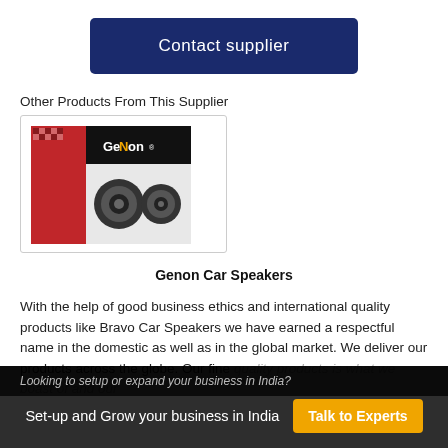Contact supplier
Other Products From This Supplier
[Figure (photo): Genon Car Speakers product box showing two car speakers]
Genon Car Speakers
With the help of good business ethics and international quality products like Bravo Car Speakers we have earned a respectful name in the domestic as well as in the global market. We deliver our products across the globe. Our fine quality products is what we boast of and our
Looking to setup or expand your business in India? Set-up and Grow your business in India  Talk to Experts